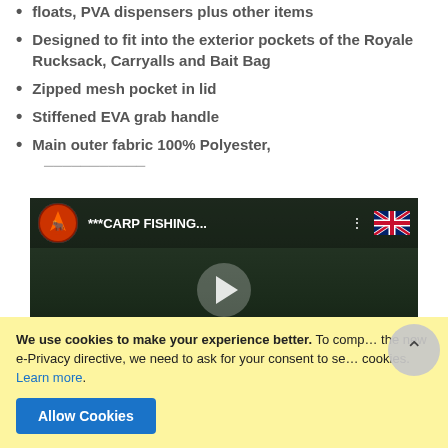floats, PVA dispensers plus other items
Designed to fit into the exterior pockets of the Royale Rucksack, Carryalls and Bait Bag
Zipped mesh pocket in lid
Stiffened EVA grab handle
Main outer fabric 100% Polyester,
[Figure (screenshot): YouTube video thumbnail showing ***CARP FISHING... video with channel icon, play button, and R SERIES LUGGAGE text at bottom]
We use cookies to make your experience better. To comply with the new e-Privacy directive, we need to ask for your consent to set cookies. Learn more.
Allow Cookies